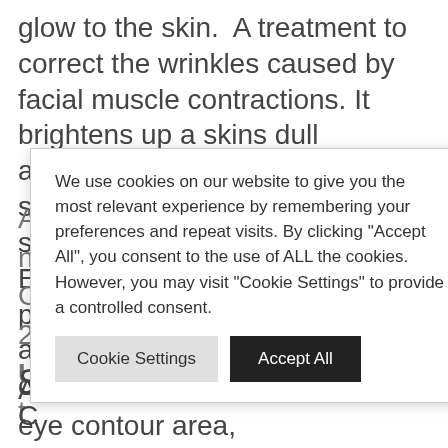glow to the skin. A treatment to correct the wrinkles caused by facial muscle contractions. It brightens up a skins dull appearance and prevents slackness and wrinkles to the skin with its patented ingredient EFFECTOX™ (a cocktail of peptides and new generation active ingredients). It also contains the peptide A lasting n phasyl. C on lines by 2 U night all over t
We use cookies on our website to give you the most relevant experience by remembering your preferences and repeat visits. By clicking "Accept All", you consent to the use of ALL the cookies. However, you may visit "Cookie Settings" to provide a controlled consent.
S YE C
A concentrated cream for the eye contour area,